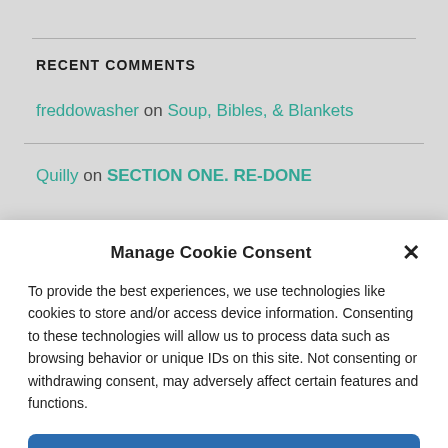RECENT COMMENTS
freddowasher on Soup, Bibles, & Blankets
Quilly on SECTION ONE. RE-DONE
Manage Cookie Consent
To provide the best experiences, we use technologies like cookies to store and/or access device information. Consenting to these technologies will allow us to process data such as browsing behavior or unique IDs on this site. Not consenting or withdrawing consent, may adversely affect certain features and functions.
Accept
Cookie Policy   Disclosure Policy